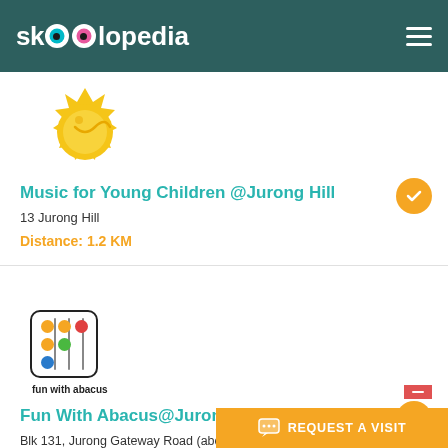skOOlopedia
[Figure (logo): Sun/star shaped logo for Music for Young Children]
Music for Young Children @Jurong Hill
13 Jurong Hill
Distance: 1.2 KM
[Figure (logo): Fun with abacus logo showing abacus beads in a rounded square]
Fun With Abacus@Jurong East
Blk 131, Jurong Gateway Road (above NTUC)
Singapore 600131
REQUEST A VISIT